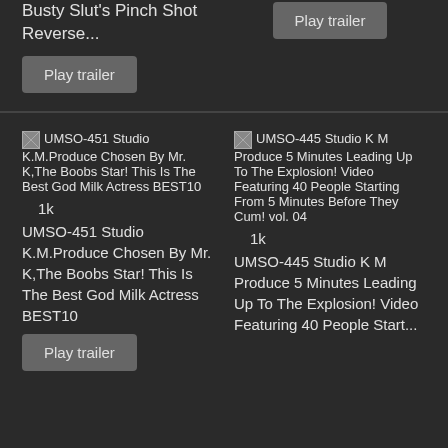Busty Slut's Pinch Shot Reverse...
Play trailer
Play trailer
[Figure (screenshot): Broken image placeholder for UMSO-451 Studio K.M.Produce Chosen By Mr. K,The Boobs Star! This Is The Best God Milk Actress BEST10]
UMSO-451 Studio K.M.Produce Chosen By Mr. K,The Boobs Star! This Is The Best God Milk Actress BEST10
1k
UMSO-451 Studio K.M.Produce Chosen By Mr. K,The Boobs Star! This Is The Best God Milk Actress BEST10
Play trailer
[Figure (screenshot): Broken image placeholder for UMSO-445 Studio K M Produce 5 Minutes Leading Up To The Explosion! Video Featuring 40 People Starting From 5 Minutes Before They Cum! vol. 04]
UMSO-445 Studio K M Produce 5 Minutes Leading Up To The Explosion! Video Featuring 40 People Starting From 5 Minutes Before They Cum! vol. 04
1k
UMSO-445 Studio K M Produce 5 Minutes Leading Up To The Explosion! Video Featuring 40 People Start...